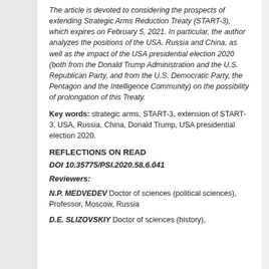The article is devoted to considering the prospects of extending Strategic Arms Reduction Treaty (START-3), which expires on February 5, 2021. In particular, the author analyzes the positions of the USA, Russia and China, as well as the impact of the USA presidential election 2020 (both from the Donald Trump Administration and the U.S. Republican Party, and from the U.S. Democratic Party, the Pentagon and the Intelligence Community) on the possibility of prolongation of this Treaty.
Key words: strategic arms, START-3, extension of START-3, USA, Russia, China, Donald Trump, USA presidential election 2020.
REFLECTIONS ON READ
DOI 10.35775/PSI.2020.58.6.041
Reviewers:
N.P. MEDVEDEV Doctor of sciences (political sciences), Professor, Moscow, Russia
D.E. SLIZOVSKIY Doctor of sciences (history),